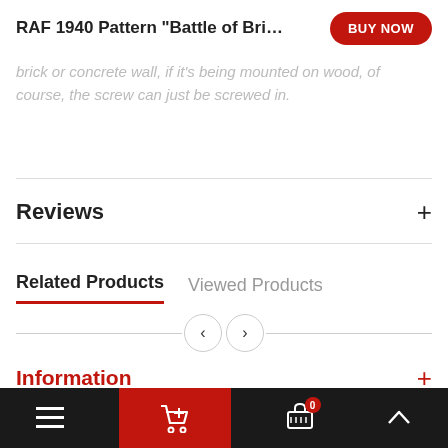RAF 1940 Pattern "Battle of Britain" …  BUY NOW
brick or concrete wall, if it's being mounted on wood, of course, the screw can just be screwed in.
Reviews +
Related Products   Viewed Products
Information +
Customer Care +
☰  🛒  0  ⌂